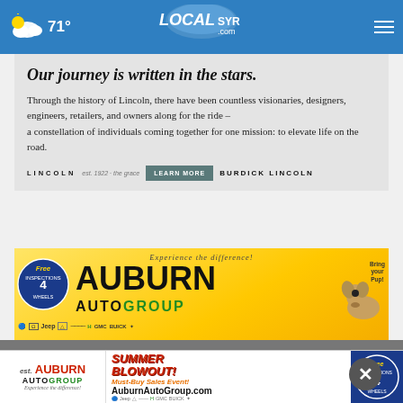71° LocalSYR.com
[Figure (advertisement): Lincoln automobile advertisement. Headline: 'Our journey is written in the stars.' Body text about Lincoln history. Burdick Lincoln dealership. Learn More button.]
[Figure (advertisement): Auburn Auto Group summer blowout sales event advertisement with yellow/gold background. Auburn Auto Group logo with multiple car brand icons. 'SUMMER' text in red. Bottom banner with AuburnAutoGroup.com website.]